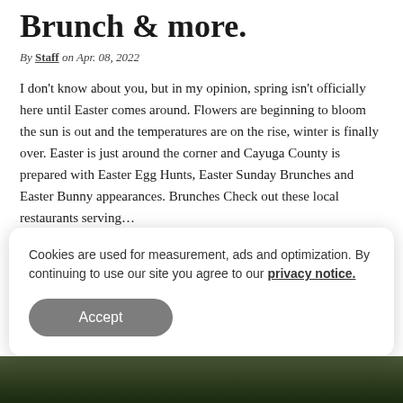Brunch & more.
By Staff on Apr. 08, 2022
I don't know about you, but in my opinion, spring isn't officially here until Easter comes around. Flowers are beginning to bloom the sun is out and the temperatures are on the rise, winter is finally over. Easter is just around the corner and Cayuga County is prepared with Easter Egg Hunts, Easter Sunday Brunches and Easter Bunny appearances. Brunches Check out these local restaurants serving…
Read More ›
Cookies are used for measurement, ads and optimization. By continuing to use our site you agree to our privacy notice.
[Figure (photo): Dark outdoor/landscape photo strip at bottom of page]